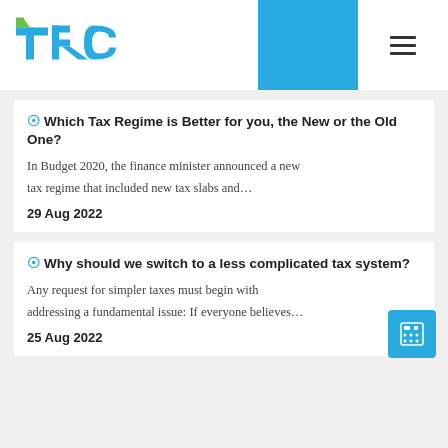TRC logo and navigation header
Which Tax Regime is Better for you, the New or the Old One?
In Budget 2020, the finance minister announced a new tax regime that included new tax slabs and…
29 Aug 2022
Why should we switch to a less complicated tax system?
Any request for simpler taxes must begin with addressing a fundamental issue: If everyone believes…
25 Aug 2022